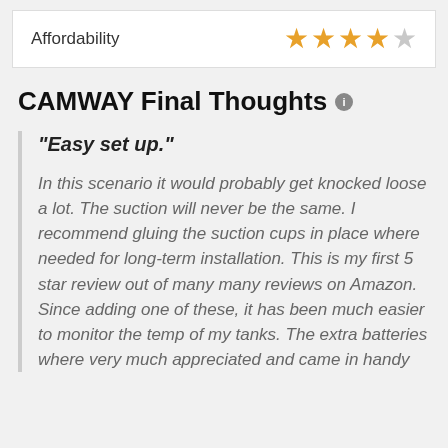| Category | Rating |
| --- | --- |
| Affordability | 3.5 out of 5 stars |
CAMWAY Final Thoughts
"Easy set up."
In this scenario it would probably get knocked loose a lot. The suction will never be the same. I recommend gluing the suction cups in place where needed for long-term installation. This is my first 5 star review out of many many reviews on Amazon. Since adding one of these, it has been much easier to monitor the temp of my tanks. The extra batteries where very much appreciated and came in handy